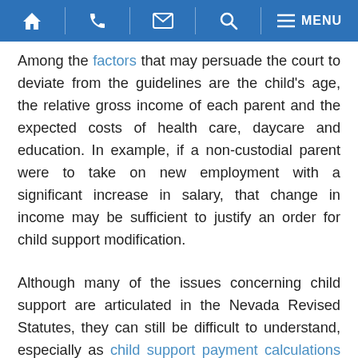Navigation bar with home, phone, email, search, and menu icons
Among the factors that may persuade the court to deviate from the guidelines are the child's age, the relative gross income of each parent and the expected costs of health care, daycare and education. In example, if a non-custodial parent were to take on new employment with a significant increase in salary, that change in income may be sufficient to justify an order for child support modification.
Although many of the issues concerning child support are articulated in the Nevada Revised Statutes, they can still be difficult to understand, especially as child support payment calculations apply to specific cases. That is why it is critical for divorcing parents to retain the counsel and representation of a family law attorney. The attorney may